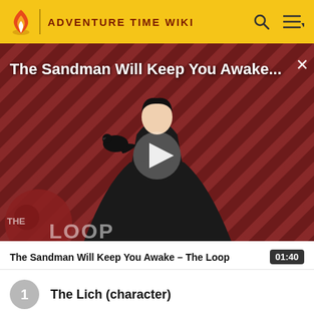ADVENTURE TIME WIKI
[Figure (screenshot): Video thumbnail for 'The Sandman Will Keep You Awake - The Loop' showing a dark figure in a black cloak against a red diagonal-striped background. The Loop logo is visible in the lower left. A white play button triangle is centered on the image. Duration is 01:40.]
The Sandman Will Keep You Awake - The Loop  01:40
1  The Lich (character)
2  Marceline